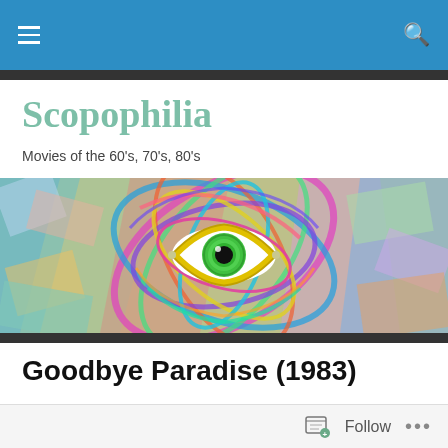Scopophilia — navigation bar with hamburger menu and search icon
Scopophilia
Movies of the 60's, 70's, 80's
[Figure (illustration): Psychedelic banner image featuring a large eye with a green iris surrounded by colorful swirling geometric patterns on a stained-glass-like background]
Goodbye Paradise (1983)
[Figure (photo): Partial movie poster for Goodbye Paradise (1983) showing a blonde figure in the center with 1980s graphic design elements, triangular badge reading 'Winner AFI Award Best Actor Ray Barrett Best Screenplay', and a smaller inset photo of two actors on the right side]
Follow  •••